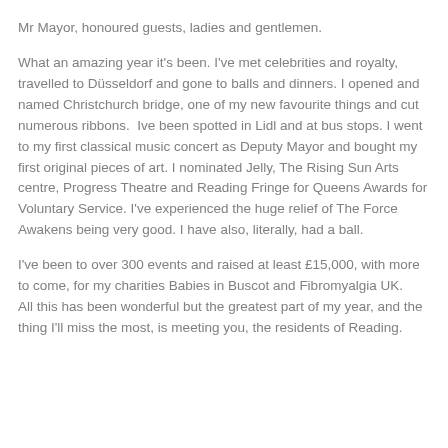Mr Mayor, honoured guests, ladies and gentlemen.
What an amazing year it's been. I've met celebrities and royalty, travelled to Düsseldorf and gone to balls and dinners. I opened and named Christchurch bridge, one of my new favourite things and cut numerous ribbons.  Ive been spotted in Lidl and at bus stops. I went to my first classical music concert as Deputy Mayor and bought my first original pieces of art. I nominated Jelly, The Rising Sun Arts centre, Progress Theatre and Reading Fringe for Queens Awards for Voluntary Service. I've experienced the huge relief of The Force Awakens being very good. I have also, literally, had a ball.
I've been to over 300 events and raised at least £15,000, with more to come, for my charities Babies in Buscot and Fibromyalgia UK.
All this has been wonderful but the greatest part of my year, and the thing I'll miss the most, is meeting you, the residents of Reading.
You have to ask me in November, when Reading...